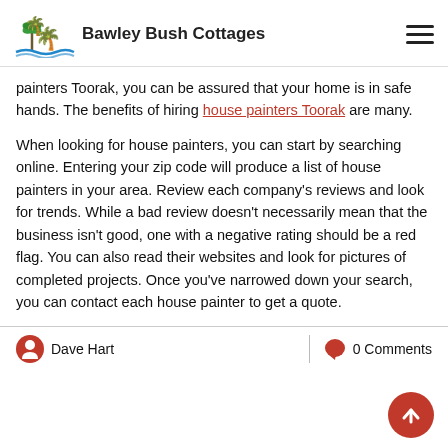Bawley Bush Cottages
painters Toorak, you can be assured that your home is in safe hands. The benefits of hiring house painters Toorak are many.
When looking for house painters, you can start by searching online. Entering your zip code will produce a list of house painters in your area. Review each company’s reviews and look for trends. While a bad review doesn’t necessarily mean that the business isn’t good, one with a negative rating should be a red flag. You can also read their websites and look for pictures of completed projects. Once you’ve narrowed down your search, you can contact each house painter to get a quote.
Dave Hart | 0 Comments